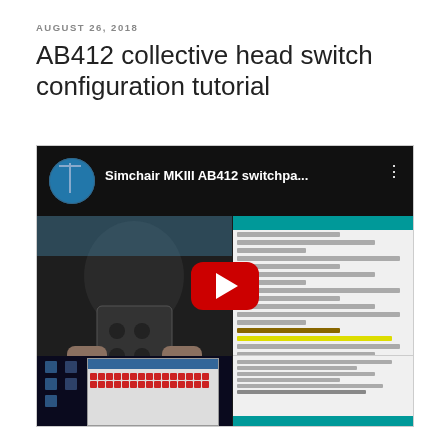AUGUST 26, 2018
AB412 collective head switch configuration tutorial
[Figure (screenshot): YouTube video thumbnail showing 'Simchair MKIII AB412 switchpa...' with a person holding a switch panel device on the left, and code/configuration text on the right side. A red YouTube play button is centered over the image. Below is a Windows desktop screenshot with a dialog box showing a grid of red buttons.]